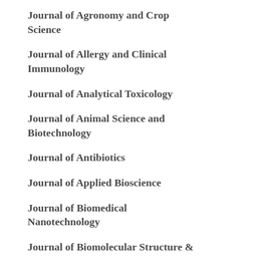Journal of Agronomy and Crop Science
Journal of Allergy and Clinical Immunology
Journal of Analytical Toxicology
Journal of Animal Science and Biotechnology
Journal of Antibiotics
Journal of Applied Bioscience
Journal of Biomedical Nanotechnology
Journal of Biomolecular Structure &